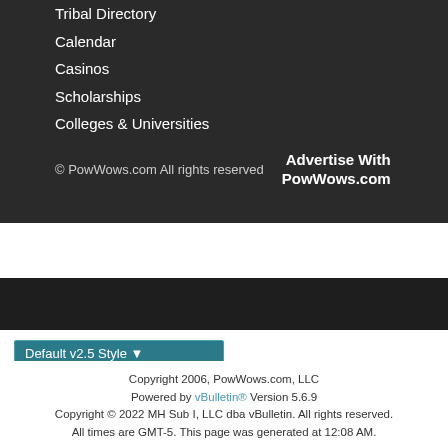Tribal Directory
Calendar
Casinos
Scholarships
Colleges & Universities
© PowWows.com All rights reserved
Advertise With PowWows.com
Default v2.5 Style
English (US)
Go to
Copyright 2006, PowWows.com, LLC
Powered by vBulletin® Version 5.6.9
Copyright © 2022 MH Sub I, LLC dba vBulletin. All rights reserved.
All times are GMT-5. This page was generated at 12:08 AM.